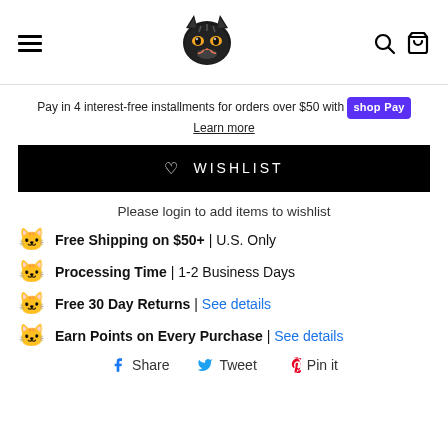Navigation header with hamburger menu, cat logo, search and cart icons
Pay in 4 interest-free installments for orders over $50 with shop Pay
Learn more
♡ WISHLIST
Please login to add items to wishlist
🐱 Free Shipping on $50+ | U.S. Only
🐱 Processing Time | 1-2 Business Days
🐱 Free 30 Day Returns | See details
🐱 Earn Points on Every Purchase | See details
Share  Tweet  Pin it